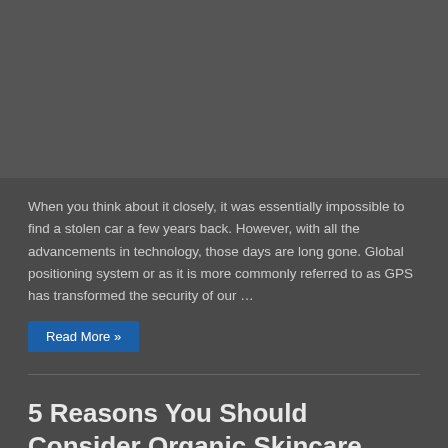[Figure (photo): Dark gray image area at the top of the page]
When you think about it closely, it was essentially impossible to find a stolen car a few years back. However, with all the advancements in technology, those days are long gone. Global positioning system or as it is more commonly referred to as GPS has transformed the security of our …
Read More »
5 Reasons You Should Consider Organic Skincare Products in 2022
23/01/2021   Health   Comments Off